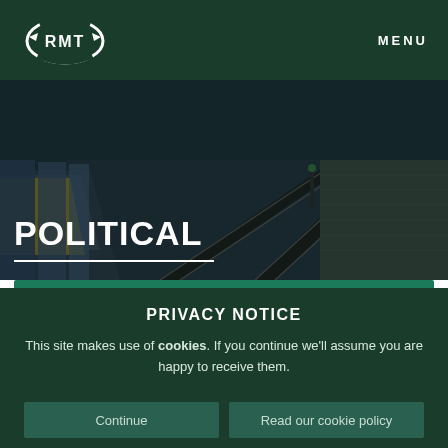RMT | MENU
[Figure (logo): RMT union logo - white swoosh oval with RMT text inside on dark green background]
POLITICAL
[Figure (photo): Underground/subway tunnel perspective view with tracks, platform edge, and signal light in dark moody lighting]
PRIVACY NOTICE
This site makes use of cookies. If you continue we'll assume you are happy to receive them.
Continue | Read our cookie policy